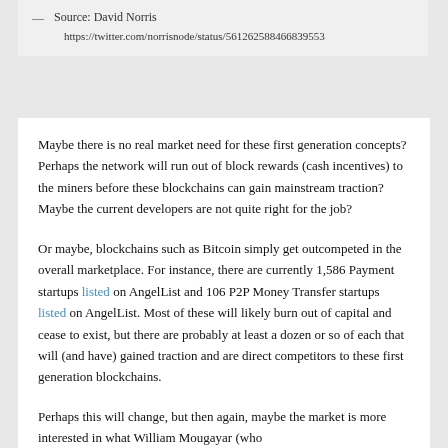— Source: David Norris
https://twitter.com/norrisnode/status/561262588466839553
Maybe there is no real market need for these first generation concepts?  Perhaps the network will run out of block rewards (cash incentives) to the miners before these blockchains can gain mainstream traction?  Maybe the current developers are not quite right for the job?
Or maybe, blockchains such as Bitcoin simply get outcompeted in the overall marketplace.  For instance, there are currently 1,586 Payment startups listed on AngelList and 106 P2P Money Transfer startups listed on AngelList.  Most of these will likely burn out of capital and cease to exist, but there are probably at least a dozen or so of each that will (and have) gained traction and are direct competitors to these first generation blockchains.
Perhaps this will change, but then again, maybe the market is more interested in what William Mougayar (who